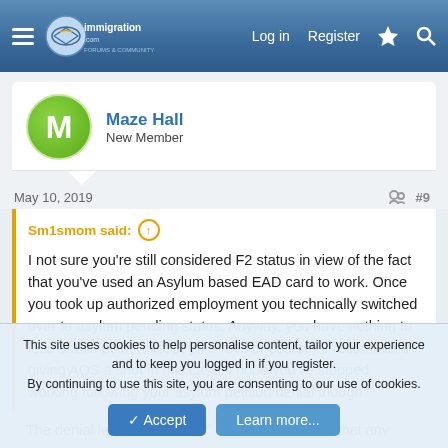immigration.com — Log in | Register
Maze Hall
New Member
May 10, 2019   #9
Sm1smom said: ↑

I not sure you're still considered F2 status in view of the fact that you've used an Asylum based EAD card to work. Once you took up authorized employment you technically switched over to asylum pending status. Anyway, you have nothing to lose at this point (except your fees of course). I recommend giving AOS a shot in this case. I hope you've stopped working following your asylum petition denial though.
The denial letter stated that " Please be advised that any...
This site uses cookies to help personalise content, tailor your experience and to keep you logged in if you register.
By continuing to use this site, you are consenting to our use of cookies.